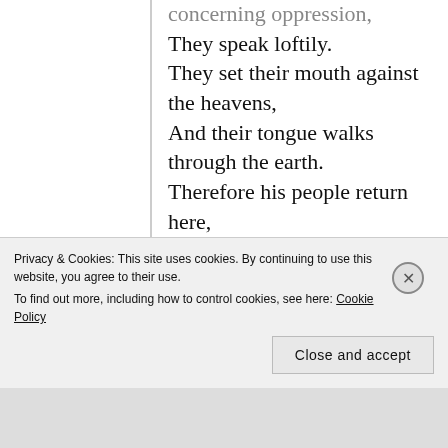concerning oppression,
They speak loftily.
They set their mouth against the heavens,
And their tongue walks through the earth.
Therefore his people return here,
And waters of a full cup are drained by them.
And they say, “How does God know?
And is there knowledge in the Most High?”
Behold, these are the ungodly,
Privacy & Cookies: This site uses cookies. By continuing to use this website, you agree to their use.
To find out more, including how to control cookies, see here: Cookie Policy
Close and accept